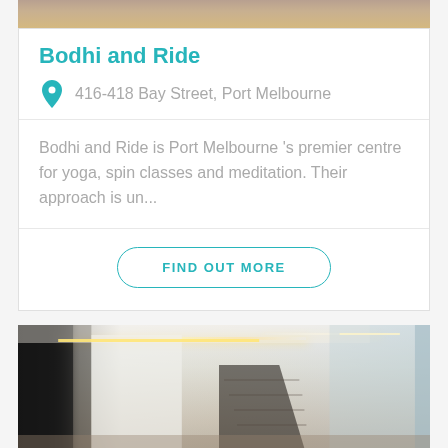[Figure (photo): Top portion of a photo showing a warm-toned interior, partially cropped at top of page]
Bodhi and Ride
416-418 Bay Street, Port Melbourne
Bodhi and Ride is Port Melbourne 's premier centre for yoga, spin classes and meditation. Their approach is un...
FIND OUT MORE
[Figure (photo): Interior photo of a large modern hallway or studio space with ceiling strip lights, dark columns on left, white walls, and a corridor extending to the right]